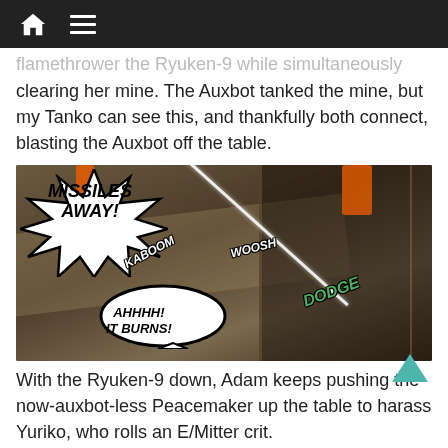Navigation bar with home and menu icons
flamethrower the Ryuken-9 while simultaneously clearing her mine. The Auxbot tanked the mine, but my Tanko can see this, and thankfully both connect, blasting the Auxbot off the table.
[Figure (photo): Board game photo with comic-style speech bubbles overlaid: 'Missiles Away!', 'KABOOM', 'WOOSH', 'DODGE', 'AHHHH! IT BURNS!']
With the Ryuken-9 down, Adam keeps pushing the now-auxbot-less Peacemaker up the table to harass Yuriko, who rolls an E/Mitter crit.
[Figure (photo): Partial photo with 'Peacemaker' speech bubble at bottom]